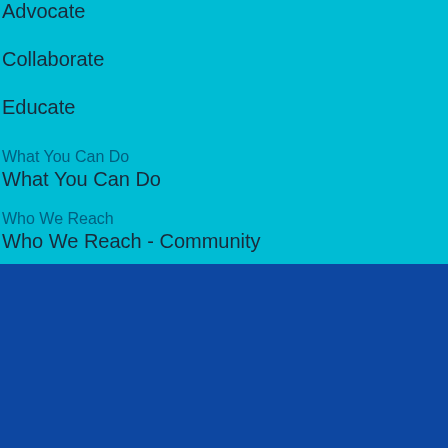Advocate
Collaborate
Educate
What You Can Do
What You Can Do
Who We Reach
Who We Reach - Community
ABOUT CMPF
Maryellen's Story
Calendar
Press
Blog